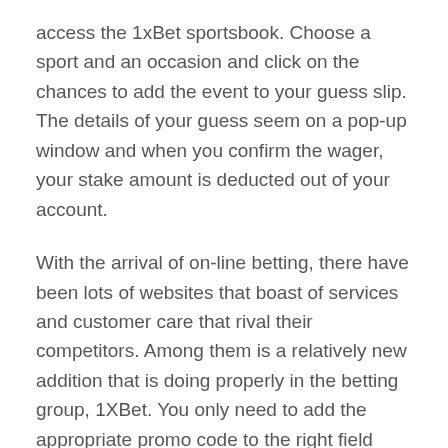access the 1xBet sportsbook. Choose a sport and an occasion and click on the chances to add the event to your guess slip. The details of your guess seem on a pop-up window and when you confirm the wager, your stake amount is deducted out of your account.
With the arrival of on-line betting, there have been lots of websites that boast of services and customer care that rival their competitors. Among them is a relatively new addition that is doing properly in the betting group, 1XBet. You only need to add the appropriate promo code to the right field when signing up for a new account. 1xBet also makes it simple for people to position bets on many events directly. You can